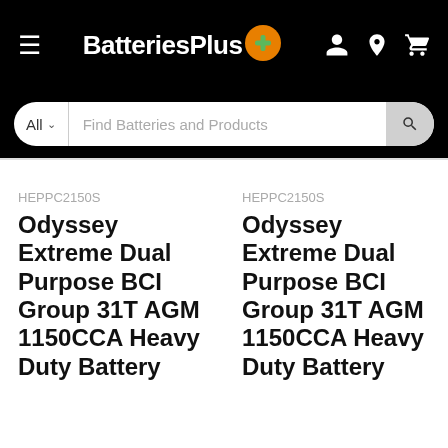BatteriesPlus
All  Find Batteries and Products
HEPPC2150S  Odyssey Extreme Dual Purpose BCI Group 31T AGM 1150CCA Heavy Duty Battery
HEPPC2150S  Odyssey Extreme Dual Purpose BCI Group 31T AGM 1150CCA Heavy Duty Battery